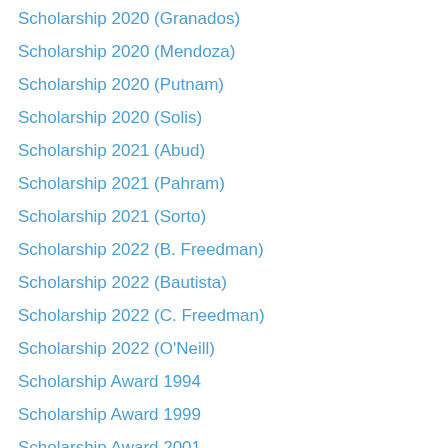Scholarship 2020 (Granados)
Scholarship 2020 (Mendoza)
Scholarship 2020 (Putnam)
Scholarship 2020 (Solis)
Scholarship 2021 (Abud)
Scholarship 2021 (Pahram)
Scholarship 2021 (Sorto)
Scholarship 2022 (B. Freedman)
Scholarship 2022 (Bautista)
Scholarship 2022 (C. Freedman)
Scholarship 2022 (O'Neill)
Scholarship Award 1994
Scholarship Award 1999
Scholarship Award 2001
Scholarship Award 2003
Scholarship Award 2006
Scholarship Award 2010
Scholarship Award 2011
Scholarship Award 2013
Scholarship Award 2014